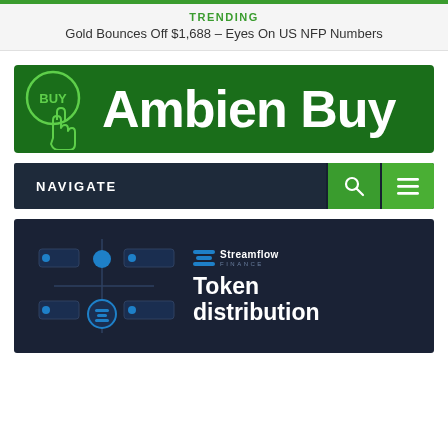TRENDING
Gold Bounces Off $1,688 – Eyes On US NFP Numbers
[Figure (illustration): Ambien Buy banner advertisement — dark green background with a circular BUY icon and a hand cursor graphic on the left, large white bold text 'Ambien Buy' on the right]
NAVIGATE
[Figure (illustration): Streamflow Finance token distribution article thumbnail — dark navy background with circuit/flow diagram graphics on the left, Streamflow Finance logo (with stylized S icon) top right, and large bold white text 'Token distribution' on the right]